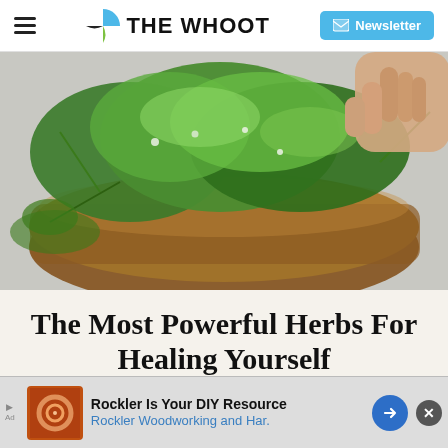THE WHOot — Newsletter
[Figure (photo): A wicker basket overflowing with fresh green herbs, with a person's hand picking herbs in the background against a light grey background.]
The Most Powerful Herbs For Healing Yourself
[Figure (other): Advertisement banner: Rockler Is Your DIY Resource — Rockler Woodworking and Har.]